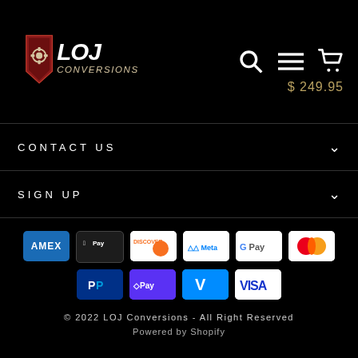[Figure (logo): LOJ Conversions logo with shield and gear icon on black background]
$ 249.95
CONTACT US
SIGN UP
[Figure (infographic): Payment method icons: AMEX, Apple Pay, Discover, Meta, Google Pay, Mastercard, PayPal, Shop Pay, Venmo, Visa]
© 2022 LOJ Conversions - All Right Reserved
Powered by Shopify